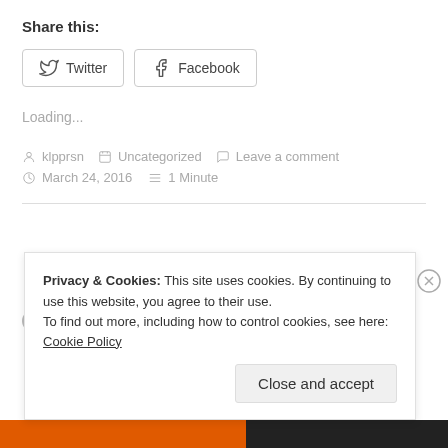Share this:
[Figure (other): Social share buttons for Twitter and Facebook]
Loading...
klpprsn  Uncategorized  Leave a comment  March 24, 2016  1 Minute
Privacy & Cookies: This site uses cookies. By continuing to use this website, you agree to their use. To find out more, including how to control cookies, see here: Cookie Policy
Close and accept